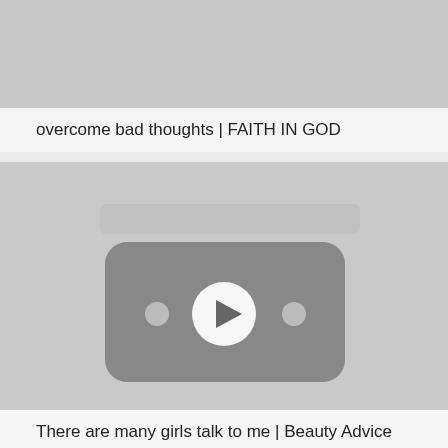[Figure (screenshot): Gray video thumbnail placeholder at top of page (partial, cropped)]
overcome bad thoughts | FAITH IN GOD
[Figure (screenshot): Video thumbnail placeholder with YouTube-style play button icon centered on gray background]
There are many girls talk to me | Beauty Advice